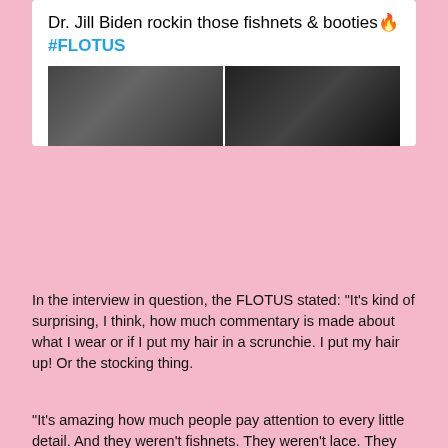[Figure (screenshot): Tweet card showing text 'Dr. Jill Biden rockin those fishnets & booties 🔥 #FLOTUS' with two dark photos below showing a person at an airfield at night]
In the interview in question, the FLOTUS stated: "It's kind of surprising, I think, how much commentary is made about what I wear or if I put my hair in a scrunchie. I put my hair up! Or the stocking thing.
"It's amazing how much people pay attention to every little detail. And they weren't fishnets. They weren't lace. They were very pretty stockings."
Per The New York Post, a number of social media users previously disparaged the First Lady's choice of hosiery inappropriate after she was pictured wearing the tights disembarking from a plane from California at Andrews Air Force Base in Maryland earlier this year.